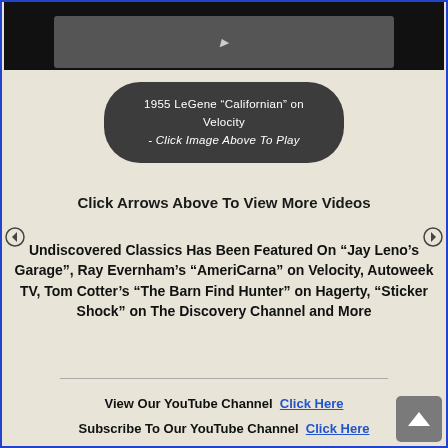[Figure (screenshot): Video thumbnail with dark background showing a 1955 LeGene Californian car]
1955 LeGene "Californian" on Velocity - Click Image Above To Play
Click Arrows Above To View More Videos
Undiscovered Classics Has Been Featured On "Jay Leno's Garage", Ray Evernham's "AmeriCarna" on Velocity, Autoweek TV, Tom Cotter's "The Barn Find Hunter" on Hagerty, "Sticker Shock" on The Discovery Channel and More
View Our YouTube Channel  Click Here
Subscribe To Our YouTube Channel  Click Here